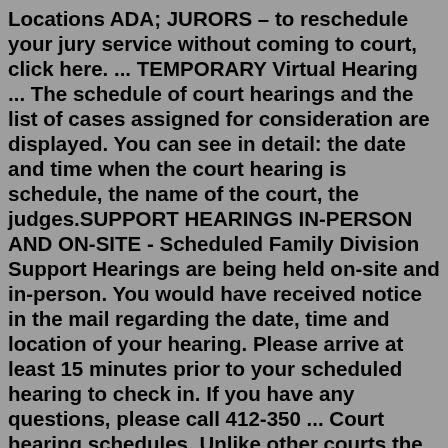Locations ADA; JURORS – to reschedule your jury service without coming to court, click here. ... TEMPORARY Virtual Hearing ... The schedule of court hearings and the list of cases assigned for consideration are displayed. You can see in detail: the date and time when the court hearing is schedule, the name of the court, the judges.SUPPORT HEARINGS IN-PERSON AND ON-SITE - Scheduled Family Division Support Hearings are being held on-site and in-person. You would have received notice in the mail regarding the date, time and location of your hearing. Please arrive at least 15 minutes prior to your scheduled hearing to check in. If you have any questions, please call 412-350 ... Court hearing schedules. Unlike other courts the public isn't allowed to attend a Family Court hearing.In our last issue, we discussed the purposes of a temporary hearing in Family Court. Here, we will discuss which forms and documents will be used in the Except in unusual circumstances, the parties in a case do not testify in temporary hearings. Testifying in a hearing generally